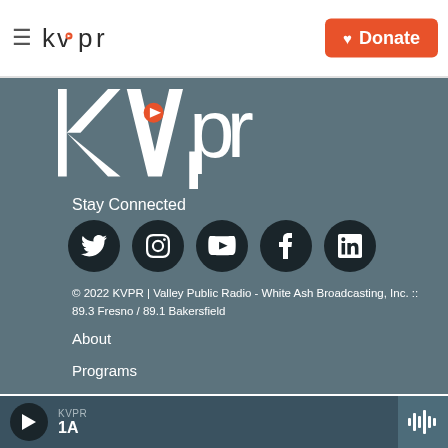kvpr | Donate
[Figure (logo): KVPR large white logo on teal/slate background]
Stay Connected
[Figure (infographic): Row of 5 social media icons: Twitter, Instagram, YouTube, Facebook, LinkedIn]
© 2022 KVPR | Valley Public Radio - White Ash Broadcasting, Inc. :: 89.3 Fresno / 89.1 Bakersfield
About
Programs
KVPR 1A